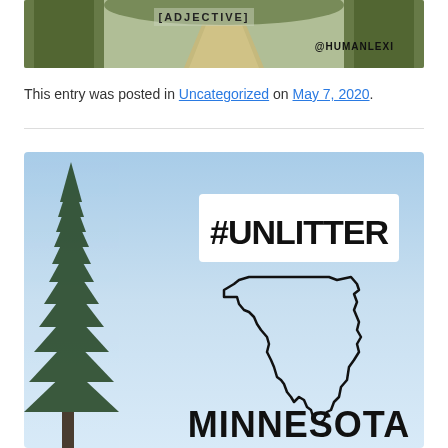[Figure (photo): Forest path photo with text overlay '[ADJECTIVE]' and '@HUMANLEXI' watermark]
This entry was posted in Uncategorized on May 7, 2020.
[Figure (photo): #UNLITTER Minnesota campaign image with outline of Minnesota state on blue sky background with evergreen tree on left side and 'MINNESOTA' text at bottom]